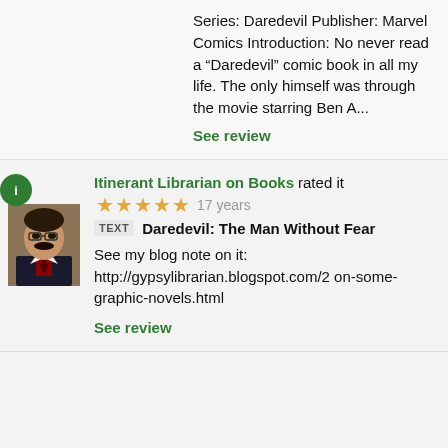Series: Daredevil Publisher: Marvel Comics Introduction: No never read a "Daredevil" comic book in all my life. The only himself was through the movie starring Ben A...
See review
Itinerant Librarian on Books rated it  17 years
TEXT  Daredevil: The Man Without Fear
See my blog note on it: http://gypsylibrarian.blogspot.com/2 on-some-graphic-novels.html
See review